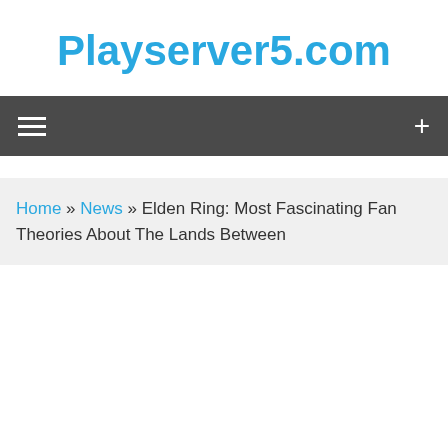Playserver5.com
≡   +
Home » News » Elden Ring: Most Fascinating Fan Theories About The Lands Between